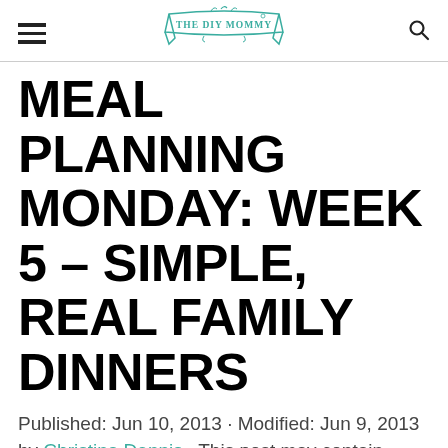[hamburger menu] THE DIY MOMMY [search icon]
MEAL PLANNING MONDAY: WEEK 5 – SIMPLE, REAL FAMILY DINNERS
Published: Jun 10, 2013 · Modified: Jun 9, 2013 by Christina Dennis · This post may contain affiliate links · This blog generates income via ads · 4 Comments